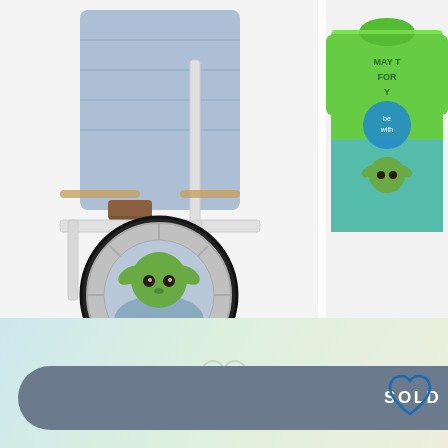[Figure (photo): Star Wars Mandalorian adaptive wheelchair costume — a child in a motorized wheelchair with Baby Yoda/Grogu pod graphic on the wheel, Star Wars-themed costume draping the chair]
Star Wars: The Mandalorian Adaptive Costume Collection for Kids
$49.99
[Figure (photo): The Child Rash Guard for kids — green Star Wars Mandalorian Grogu ('Baby Yoda') themed rash guard shirt with 'May The Force Be With You' text]
The Child Rash Guard f... Wars: The Mandalorian...
$19.99  $6.98
EXTRA 20% OFF WITH
SOLD OUT